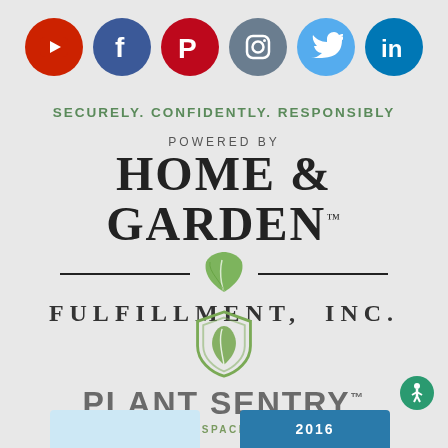[Figure (logo): Row of six social media icons: YouTube (red), Facebook (blue), Pinterest (red), Instagram (gray-blue), Twitter (light blue), LinkedIn (dark blue)]
SECURELY. CONFIDENTLY. RESPONSIBLY
[Figure (logo): Home & Garden Fulfillment, Inc. logo with green leaf divider between decorative lines, text reads POWERED BY HOME & GARDEN TM FULFILLMENT, INC.]
[Figure (logo): Plant Sentry shield logo with green leaf inside shield outline]
PLANT SENTRY™ — THE GREENSPACE GUARDIAN —
[Figure (logo): Two partial logos at bottom of page, partially cropped]